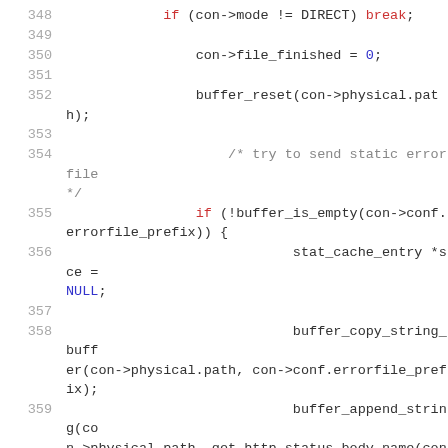[Figure (screenshot): Source code listing with line numbers 348-361, showing C code for handling HTTP connection modes, file finishing, buffer resets, and error file handling.]